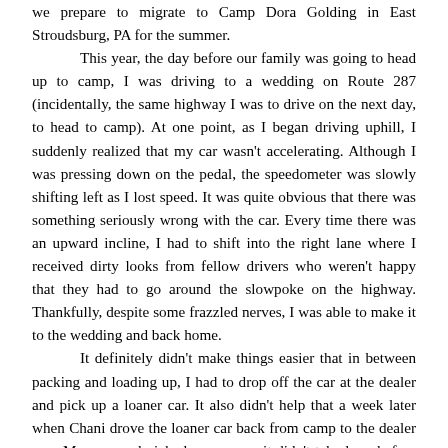we prepare to migrate to Camp Dora Golding in East Stroudsburg, PA for the summer.

This year, the day before our family was going to head up to camp, I was driving to a wedding on Route 287 (incidentally, the same highway I was to drive on the next day, to head to camp). At one point, as I began driving uphill, I suddenly realized that my car wasn't accelerating. Although I was pressing down on the pedal, the speedometer was slowly shifting left as I lost speed. It was quite obvious that there was something seriously wrong with the car. Every time there was an upward incline, I had to shift into the right lane where I received dirty looks from fellow drivers who weren't happy that they had to go around the slowpoke on the highway. Thankfully, despite some frazzled nerves, I was able to make it to the wedding and back home.

It definitely didn't make things easier that in between packing and loading up, I had to drop off the car at the dealer and pick up a loaner car. It also didn't help that a week later when Chani drove the loaner car back from camp to the dealer near Monsey, and picked up my car, it didn't take long before she realized the car wasn't properly fixed. The car still didn't accelerate properly. She quickly turned around and brought the car back. But in the interim, someone else had taken the loaner car, and